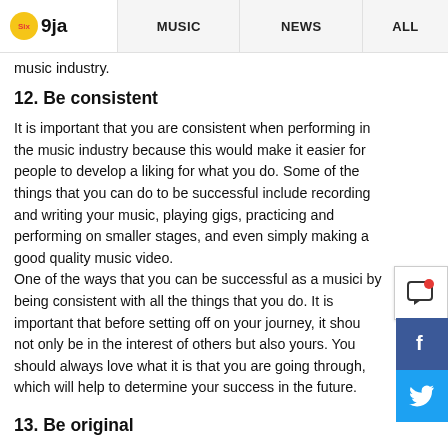Six9ja | MUSIC | NEWS | ALL
music industry.
12. Be consistent
It is important that you are consistent when performing in the music industry because this would make it easier for people to develop a liking for what you do. Some of the things that you can do to be successful include recording and writing your music, playing gigs, practicing and performing on smaller stages, and even simply making a good quality music video.
One of the ways that you can be successful as a musician is by being consistent with all the things that you do. It is important that before setting off on your journey, it should not only be in the interest of others but also yours. You should always love what it is that you are going through, which will help to determine your success in the future.
13. Be original